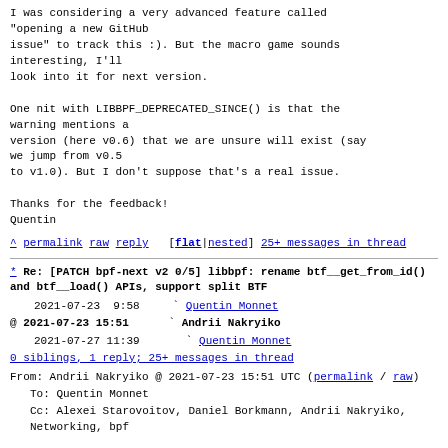I was considering a very advanced feature called
"opening a new GitHub
issue" to track this :). But the macro game sounds
interesting, I'll
look into it for next version.

One nit with LIBBPF_DEPRECATED_SINCE() is that the
warning mentions a
version (here v0.6) that we are unsure will exist (say
we jump from v0.5
to v1.0). But I don't suppose that's a real issue.

Thanks for the feedback!
Quentin
^ permalink raw reply   [flat|nested] 25+ messages in thread
* Re: [PATCH bpf-next v2 0/5] libbpf: rename btf__get_from_id() and btf__load() APIs, support split BTF
2021-07-23  9:58    ` Quentin Monnet
@ 2021-07-23 15:51    ` Andrii Nakryiko
  2021-07-27 11:39      ` Quentin Monnet
0 siblings, 1 reply; 25+ messages in thread
From: Andrii Nakryiko @ 2021-07-23 15:51 UTC (permalink / raw)
To: Quentin Monnet
Cc: Alexei Starovoitov, Daniel Borkmann, Andrii Nakryiko, Networking, bpf